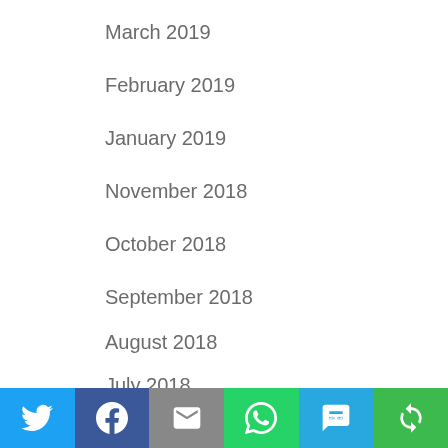March 2019
February 2019
January 2019
November 2018
October 2018
September 2018
August 2018
July 2018
June 2018
Twitter | Facebook | Email | WhatsApp | SMS | Share